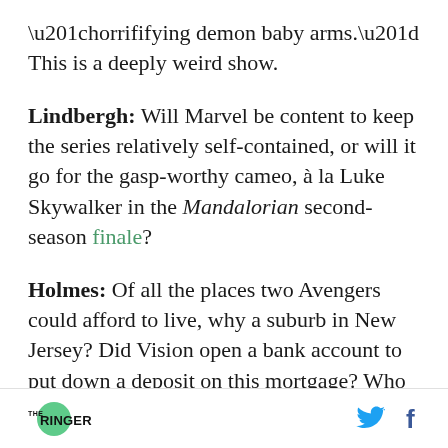“horrififying demon baby arms.” This is a deeply weird show.
Lindbergh: Will Marvel be content to keep the series relatively self-contained, or will it go for the gasp-worthy cameo, à la Luke Skywalker in the Mandalorian second-season finale?
Holmes: Of all the places two Avengers could afford to live, why a suburb in New Jersey? Did Vision open a bank account to put down a deposit on this mortgage? Who is Vision’s real estate agent?
THE RINGER